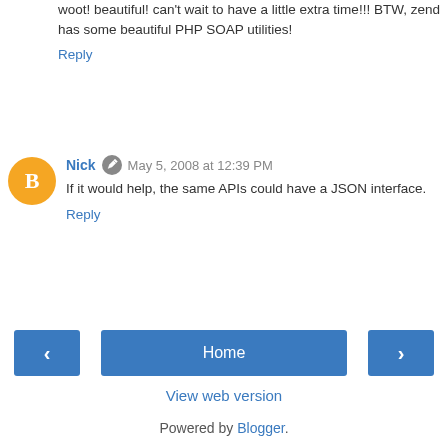woot! beautiful! can't wait to have a little extra time!!! BTW, zend has some beautiful PHP SOAP utilities!
Reply
Nick  May 5, 2008 at 12:39 PM
If it would help, the same APIs could have a JSON interface.
Reply
Home
View web version
Powered by Blogger.